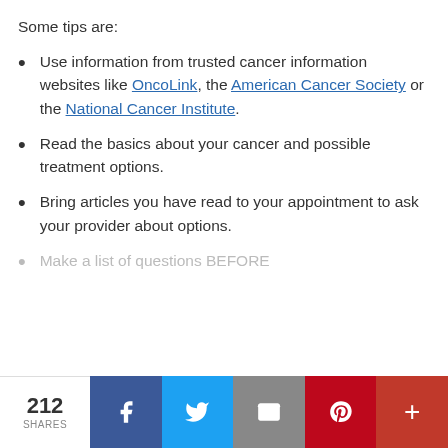Some tips are:
Use information from trusted cancer information websites like OncoLink, the American Cancer Society or the National Cancer Institute.
Read the basics about your cancer and possible treatment options.
Bring articles you have read to your appointment to ask your provider about options.
Make a list of questions BEFORE
212 SHARES | Facebook | Twitter | Email | Pinterest | +